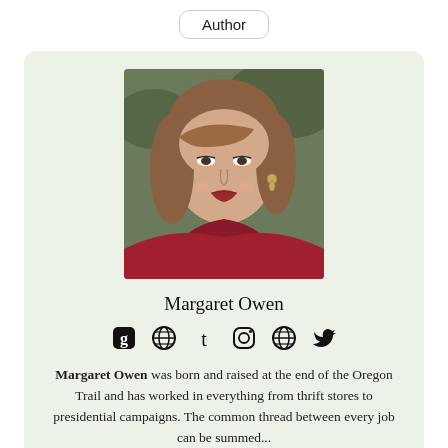Author
[Figure (photo): Portrait photo of Margaret Owen, a young woman with wavy brown hair, wearing a red/maroon scarf, smiling, against a blurred outdoor background.]
Margaret Owen
[Figure (other): Row of social media icons: Goodreads, globe/web, Tumblr, Instagram, globe/web, Twitter]
Margaret Owen was born and raised at the end of the Oregon Trail and has worked in everything from thrift stores to presidential campaigns. The common thread between every job can be summed...